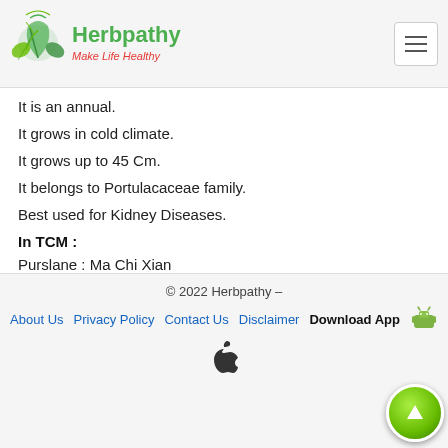Herbpathy - Make Life Healthy
It is an annual.
It grows in cold climate.
It grows up to 45 Cm.
It belongs to Portulacaceae family.
Best used for Kidney Diseases.
In TCM :
Purslane : Ma Chi Xian
Meridians associated : Liver and Large Intestine.
Origin
Central America   India
Grown In
Central America   China
© 2022 Herbpathy – About Us  Privacy Policy  Contact Us  Disclaimer  Download App